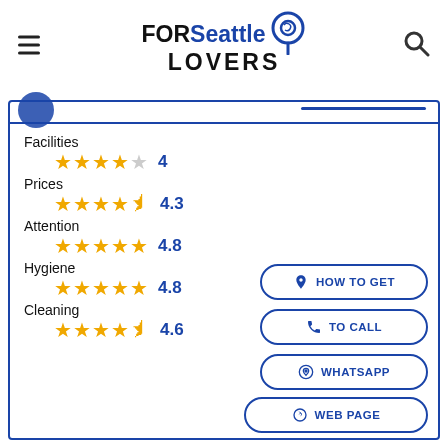FOR Seattle LOVERS
Facilities ★★★★☆ 4
Prices ★★★★½ 4.3
Attention ★★★★★ 4.8
Hygiene ★★★★★ 4.8
Cleaning ★★★★½ 4.6
HOW TO GET
TO CALL
WHATSAPP
WEB PAGE